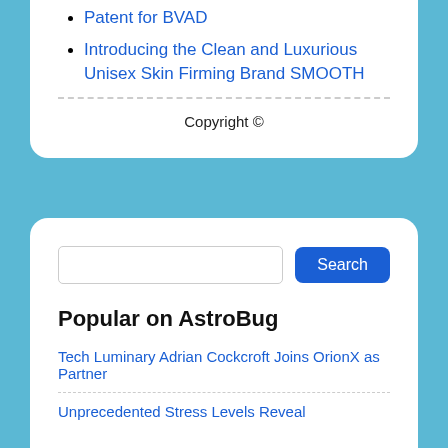Patent for BVAD
Introducing the Clean and Luxurious Unisex Skin Firming Brand SMOOTH
Copyright ©
[Figure (screenshot): Search input box with a blue Search button]
Popular on AstroBug
Tech Luminary Adrian Cockcroft Joins OrionX as Partner
Unprecedented Stress Levels Reveal